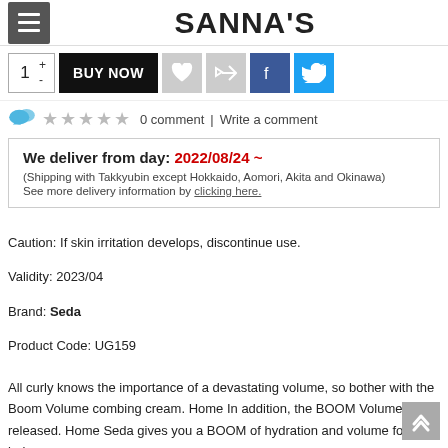SANNA'S
[Figure (screenshot): Buy Now bar with quantity selector, BUY NOW button, heart icon, retweet icon, Facebook icon, Twitter icon]
0 comment  | Write a comment
We deliver from day: 2022/08/24 ~
(Shipping with Takkyubin except Hokkaido, Aomori, Akita and Okinawa)
See more delivery information by clicking here.
Caution: If skin irritation develops, discontinue use.
Validity: 2023/04
Brand: Seda
Product Code: UG159
All curly knows the importance of a devastating volume, so bother with the Boom Volume combing cream. Home In addition, the BOOM Volume is released. Home Seda gives you a BOOM of hydration and volume for your hair.
Released